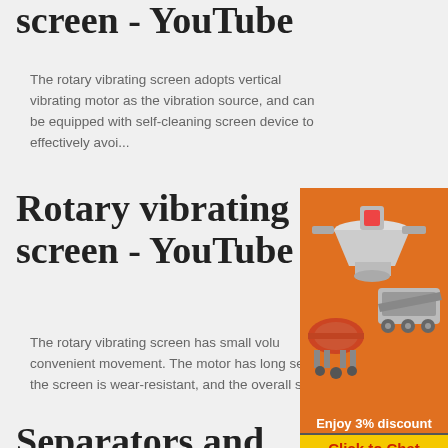screen - YouTube
The rotary vibrating screen adopts vertical vibrating motor as the vibration source, and can be equipped with self-cleaning screen device to effectively avoi...
Rotary vibrating screen - YouTube
[Figure (photo): Industrial machinery equipment advertisement on orange background showing crushers and mills]
The rotary vibrating screen has small volu convenient movement. The motor has long se the screen is wear-resistant, and the overall s
Enjoy 3% discount
Click to Chat
Enquiry
limingjlmofen@sina.com
Separators and Vibrators | Manufacturer from Mumbai